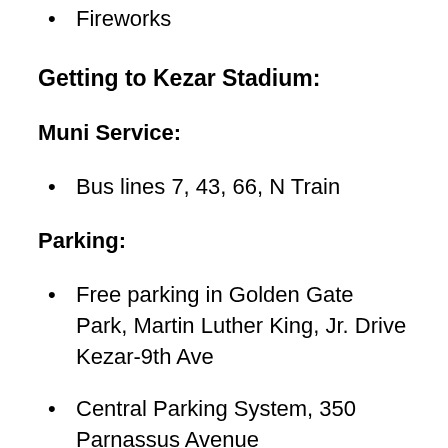Fireworks
Getting to Kezar Stadium:
Muni Service:
Bus lines 7, 43, 66, N Train
Parking:
Free parking in Golden Gate Park, Martin Luther King, Jr. Drive Kezar-9th Ave
Central Parking System, 350 Parnassus Avenue
UCSF Millberry Union Parking Garage, 500 Parnassus Avenue